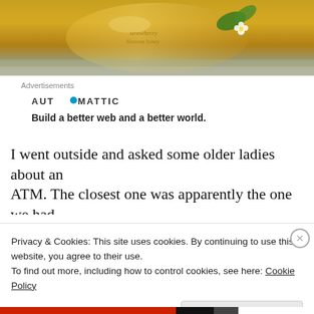[Figure (photo): Close-up photo of a yellow/amber liquid in a glass bottle with green flower/leaf decoration, on a light background]
Advertisements
[Figure (logo): Automattic logo with blue dot: AUT⊙MATTIC]
Build a better web and a better world.
I went outside and asked some older ladies about an ATM. The closest one was apparently the one we had
Privacy & Cookies: This site uses cookies. By continuing to use this website, you agree to their use.
To find out more, including how to control cookies, see here: Cookie Policy
Close and accept